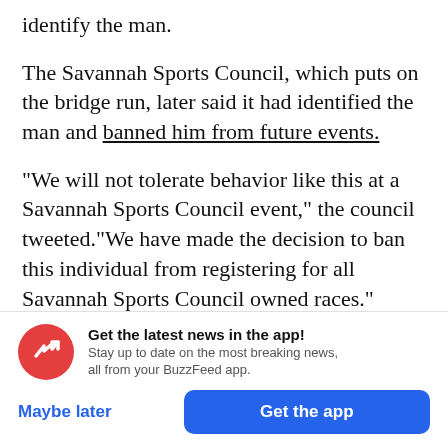identify the man.
The Savannah Sports Council, which puts on the bridge run, later said it had identified the man and banned him from future events.
"We will not tolerate behavior like this at a Savannah Sports Council event," the council tweeted."We have made the decision to ban this individual from registering for all Savannah Sports Council owned races."
[Figure (infographic): BuzzFeed app promotion banner with red circular logo containing a white arrow, headline 'Get the latest news in the app!', subtext 'Stay up to date on the most breaking news, all from your BuzzFeed app.', and two buttons: 'Maybe later' and 'Get the app']